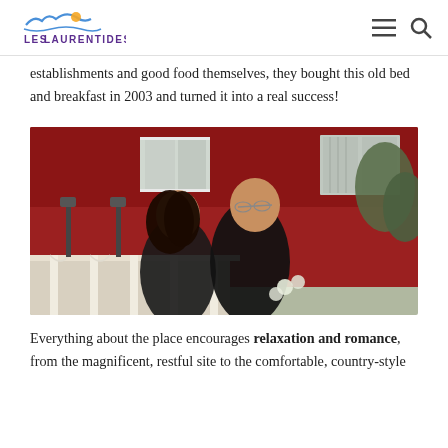Laurentides
establishments and good food themselves, they bought this old bed and breakfast in 2003 and turned it into a real success!
[Figure (photo): A couple dressed in black standing in front of a red building with white trim and a porch. The woman has long dark hair with arms crossed, the man is bald with glasses holding white flowers. Trees visible in background.]
Everything about the place encourages relaxation and romance, from the magnificent, restful site to the comfortable, country-style ...